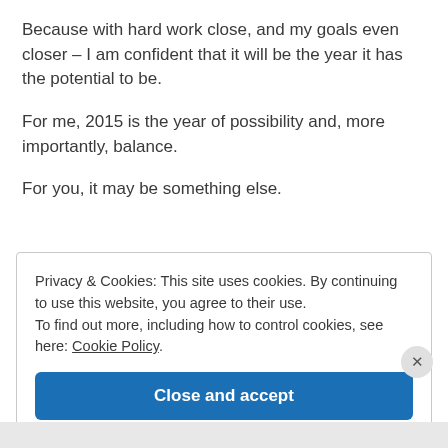Because with hard work close, and my goals even closer – I am confident that it will be the year it has the potential to be.
For me, 2015 is the year of possibility and, more importantly, balance.
For you, it may be something else.
Privacy & Cookies: This site uses cookies. By continuing to use this website, you agree to their use.
To find out more, including how to control cookies, see here: Cookie Policy
Close and accept